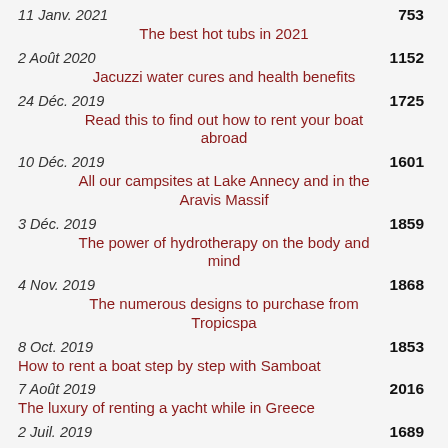11 Janv. 2021 — 753
The best hot tubs in 2021
2 Août 2020 — 1152
Jacuzzi water cures and health benefits
24 Déc. 2019 — 1725
Read this to find out how to rent your boat abroad
10 Déc. 2019 — 1601
All our campsites at Lake Annecy and in the Aravis Massif
3 Déc. 2019 — 1859
The power of hydrotherapy on the body and mind
4 Nov. 2019 — 1868
The numerous designs to purchase from Tropicspa
8 Oct. 2019 — 1853
How to rent a boat step by step with Samboat
7 Août 2019 — 2016
The luxury of renting a yacht while in Greece
2 Juil. 2019 — 1689